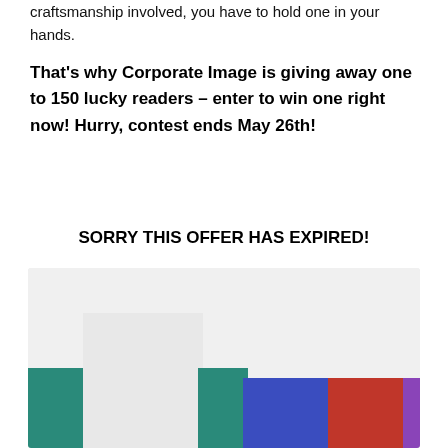craftsmanship involved, you have to hold one in your hands.
That's why Corporate Image is giving away one to 150 lucky readers – enter to win one right now! Hurry, contest ends May 26th!
SORRY THIS OFFER HAS EXPIRED!
[Figure (photo): Photo of colorful branded notebooks/journals arranged in a row — teal, white/gray, blue, red, and purple colors visible]